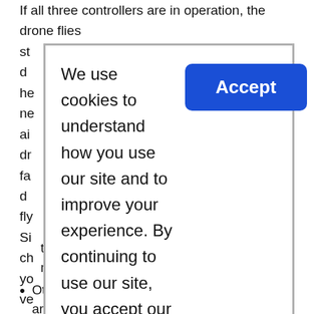If all three controllers are in operation, the drone flies st... he... ne ai... dr... fa... d fly... Si... ch yo... ve be... o wi... Th...
[Figure (screenshot): Cookie consent dialog overlay with text: 'We use cookies to understand how you use our site and to improve your experience. By continuing to use our site, you accept our use of cookies and dataprotection.' and an Accept button in blue.]
times (eg cable cross sections, changed mass distribution, frame)
Other motors, motor controllers or propellers are used.
Other flight battery (voltage, weight, internal resistance)